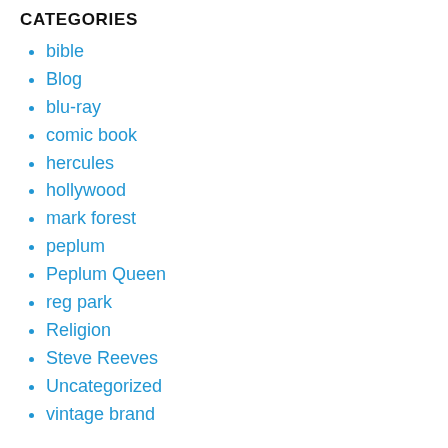CATEGORIES
bible
Blog
blu-ray
comic book
hercules
hollywood
mark forest
peplum
Peplum Queen
reg park
Religion
Steve Reeves
Uncategorized
vintage brand